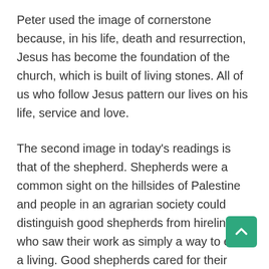Peter used the image of cornerstone because, in his life, death and resurrection, Jesus has become the foundation of the church, which is built of living stones. All of us who follow Jesus pattern our lives on his life, service and love.
The second image in today's readings is that of the shepherd. Shepherds were a common sight on the hillsides of Palestine and people in an agrarian society could distinguish good shepherds from hirelings who saw their work as simply a way to earn a living. Good shepherds cared for their sheep and had a relationship with their animals. The sheep trusted the good shepherds and followed